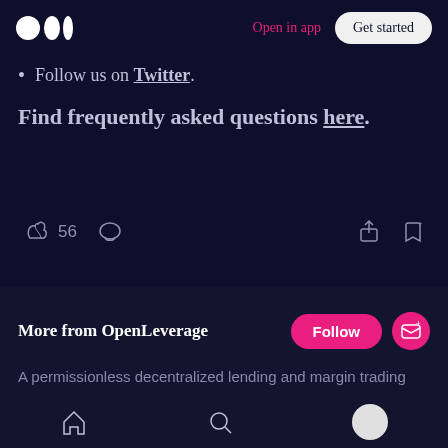Open in app | Get started
Follow us on Twitter.
Find frequently asked questions here.
[Figure (screenshot): Action bar with clap icon showing 56 claps, comment icon, share icon, and bookmark icon]
[Figure (screenshot): Floating pill with clap icon, 56, divider, and comment icon]
More from OpenLeverage
A permissionless decentralized lending and margin trading
[Figure (screenshot): Bottom navigation bar with home, search, and profile icons]